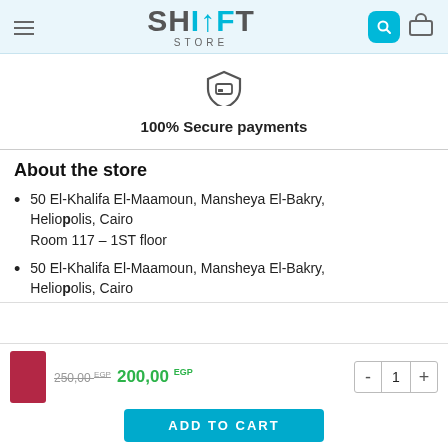SHIFT STORE
[Figure (logo): Shield with payment card icon — secure payments badge]
100% Secure payments
About the store
50 El-Khalifa El-Maamoun, Mansheya El-Bakry, Heliopolis, Cairo
Room 117 – 1ST floor
50 El-Khalifa El-Maamoun, Mansheya El-Bakry, Heliopolis, Cairo
[Figure (photo): Red product thumbnail image]
250,00 EGP  200,00 EGP
ADD TO CART